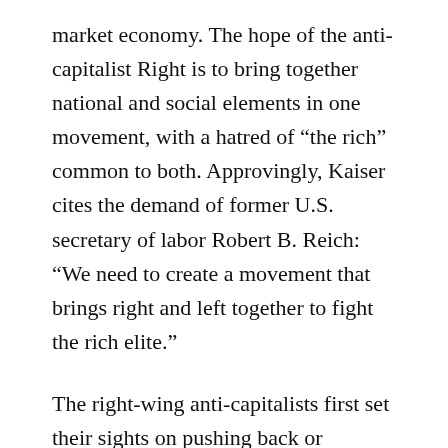market economy. The hope of the anti-capitalist Right is to bring together national and social elements in one movement, with a hatred of “the rich” common to both. Approvingly, Kaiser cites the demand of former U.S. secretary of labor Robert B. Reich: “We need to create a movement that brings right and left together to fight the rich elite.”
The right-wing anti-capitalists first set their sights on pushing back or eliminating the AfD’s economic liberal elements to make way for the “social patriotism” propagated by Björn Höcke, the leader of the right-wing of the AfD in eastern Germany.